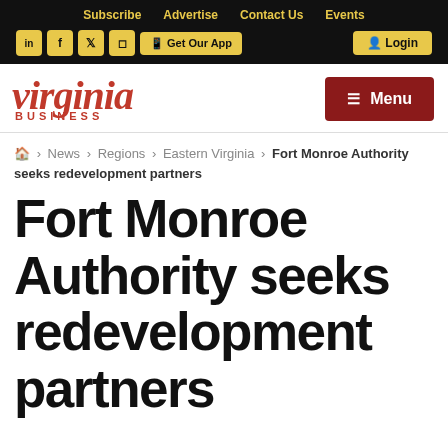Subscribe | Advertise | Contact Us | Events
Social icons: LinkedIn, Facebook, Twitter, Instagram | Get Our App | Login
[Figure (logo): Virginia Business logo with italic serif 'virginia' in red and 'BUSINESS' in small caps below]
Menu
🏠 > News > Regions > Eastern Virginia > Fort Monroe Authority seeks redevelopment partners
Fort Monroe Authority seeks redevelopment partners